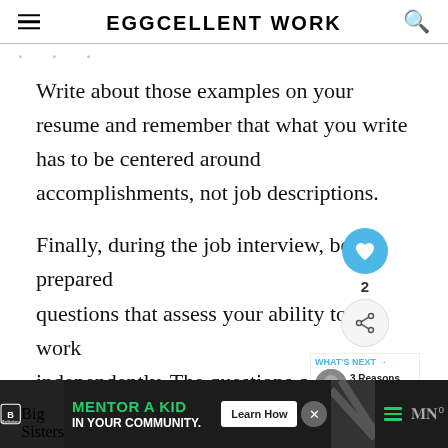EGGCELLENT WORK
Write about those examples on your resume and remember that what you write has to be centered around accomplishments, not job descriptions.
Finally, during the job interview, be prepared questions that assess your ability to work independently. The questions can ra anecdotal to philosophical. Also, expect pe Di